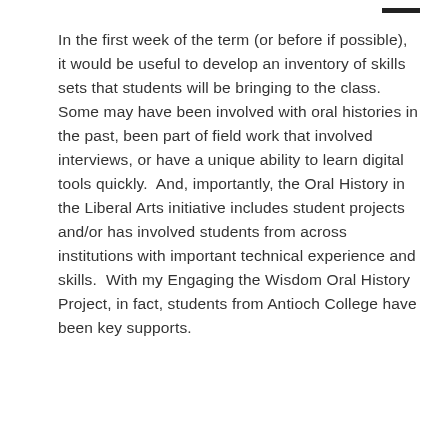In the first week of the term (or before if possible), it would be useful to develop an inventory of skills sets that students will be bringing to the class.  Some may have been involved with oral histories in the past, been part of field work that involved interviews, or have a unique ability to learn digital tools quickly.  And, importantly, the Oral History in the Liberal Arts initiative includes student projects and/or has involved students from across institutions with important technical experience and skills.  With my Engaging the Wisdom Oral History Project, in fact, students from Antioch College have been key supports.